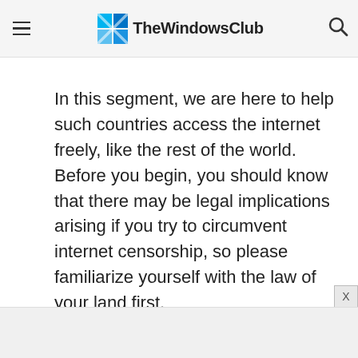TheWindowsClub
In this segment, we are here to help such countries access the internet freely, like the rest of the world. Before you begin, you should know that there may be legal implications arising if you try to circumvent internet censorship, so please familiarize yourself with the law of your land first.